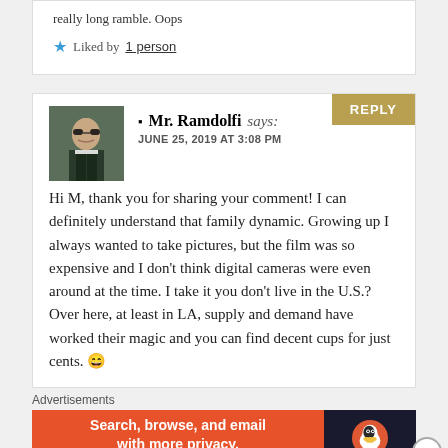really long ramble. Oops
★ Liked by 1 person
Mr. Ramdolfi says:
JUNE 25, 2019 AT 3:08 PM
Hi M, thank you for sharing your comment! I can definitely understand that family dynamic. Growing up I always wanted to take pictures, but the film was so expensive and I don't think digital cameras were even around at the time. I take it you don't live in the U.S.? Over here, at least in LA, supply and demand have worked their magic and you can find decent cups for just cents. 😄
Advertisements
[Figure (other): DuckDuckGo advertisement banner: orange background with text 'Search, browse, and email with more privacy. All in One Free App' and dark panel with DuckDuckGo logo]